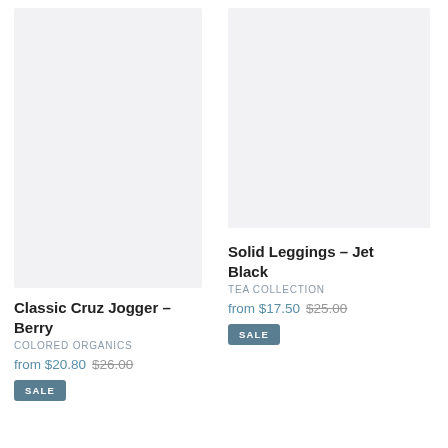[Figure (photo): Product image placeholder for Classic Cruz Jogger - Berry, light gray background]
Classic Cruz Jogger - Berry
COLORED ORGANICS
from $20.80  $26.00
SALE
[Figure (photo): Product image placeholder for Solid Leggings - Jet Black, light gray background]
Solid Leggings - Jet Black
TEA COLLECTION
from $17.50  $25.00
SALE